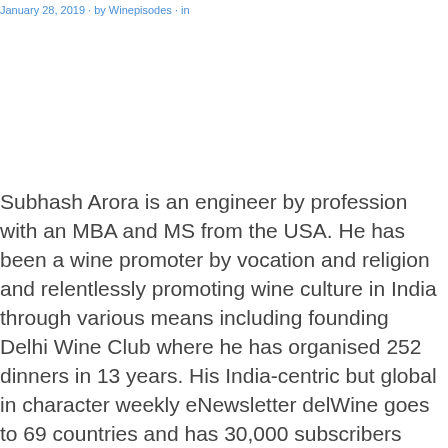January 28, 2019 · by Winepisodes · in
Subhash Arora is an engineer by profession with an MBA and MS from the USA. He has been a wine promoter by vocation and religion and relentlessly promoting wine culture in India through various means including founding Delhi Wine Club where he has organised 252 dinners in 13 years. His India-centric but global in character weekly eNewsletter delWine goes to 69 countries and has 30,000 subscribers (over 680 issues sent). He is an international judge, representing India in about 50 competitions. He visits Indian wineries